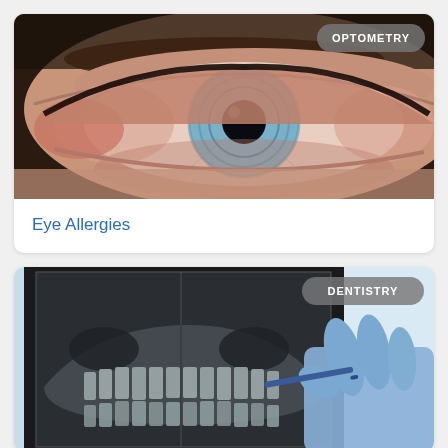[Figure (photo): Close-up photo of a person's eye with blue iris, showing redness, with an 'OPTOMETRY' badge in the top right corner.]
Eye Allergies
[Figure (photo): Photo of a dental X-ray panoramic image being examined, with a gloved hand holding a blue pen pointing at the X-ray. A 'DENTISTRY' badge appears in the top right corner.]